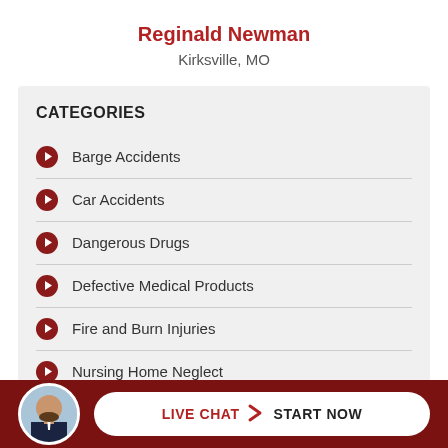Reginald Newman
Kirksville, MO
CATEGORIES
Barge Accidents
Car Accidents
Dangerous Drugs
Defective Medical Products
Fire and Burn Injuries
Nursing Home Neglect
Pedestrian Accidents
[Figure (photo): Headshot of a man with a beard in a suit, used as avatar in the live chat footer bar]
LIVE CHAT > START NOW